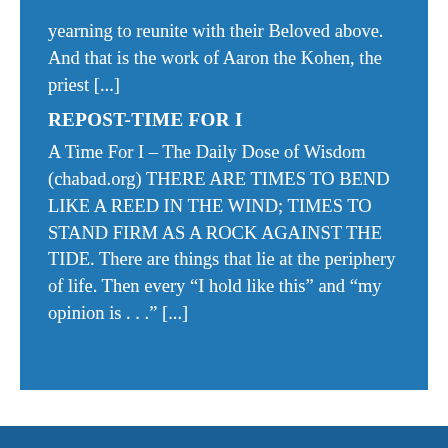yearning to reunite with their Beloved above. And that is the work of Aaron the Kohen, the priest [...]
REPOST-TIME FOR I
A Time For I – The Daily Dose of Wisdom (chabad.org) THERE ARE TIMES TO BEND LIKE A REED IN THE WIND; TIMES TO STAND FIRM AS A ROCK AGAINST THE TIDE. There are things that lie at the periphery of life. Then every “I hold like this” and “my opinion is . . .” [...]